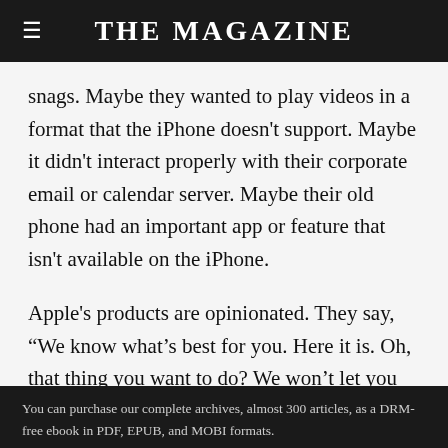THE MAGAZINE
snags. Maybe they wanted to play videos in a format that the iPhone doesn't support. Maybe it didn't interact properly with their corporate email or calendar server. Maybe their old phone had an important app or feature that isn't available on the iPhone.
Apple's products are opinionated. They say, “We know what’s best for you. Here it is. Oh, that thing you want to do? We won’t let you do that because it would suck. Trust us. If you don’t like it, there’s the
You can purchase our complete archives, almost 300 articles, as a DRM-free ebook in PDF, EPUB, and MOBI formats.